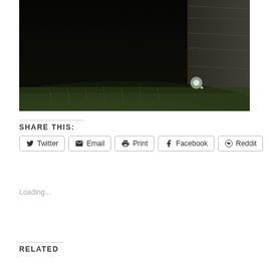[Figure (photo): Dark nighttime outdoor photo showing grass in the foreground, a dark background, a stone or concrete wall on the right side, and a bright light orb/reflection in the lower right area of the frame.]
SHARE THIS:
Twitter Email Print Facebook Reddit
Loading...
RELATED